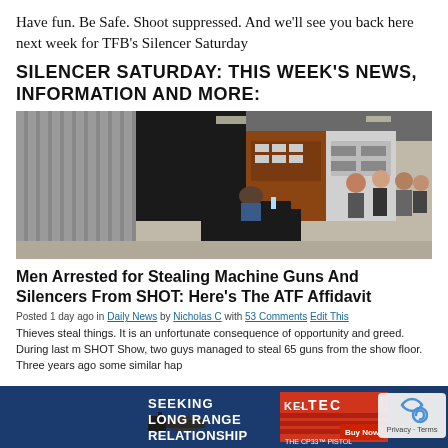Have fun. Be Safe. Shoot suppressed. And we'll see you back here next week for TFB's Silencer Saturday
SILENCER SATURDAY: THIS WEEK'S NEWS, INFORMATION AND MORE:
[Figure (photo): Trade show floor with display booths, curtained walls, and attendees walking around. A person is seated at a black draped table.]
Men Arrested for Stealing Machine Guns And Silencers From SHOT: Here's The ATF Affidavit
Posted 1 day ago in Daily News by Nicholas C with 53 Comments Edit This
Thieves steal things. It is an unfortunate consequence of opportunity and greed. During last m SHOT Show, two guys managed to steal 65 guns from the show floor. Three years ago some similar hap
[Figure (advertisement): Kel-Tec advertisement for CP33 pistol. Text: SEEKING LONG RANGE RELATIONSHIP. KEl-TEC. THE CP33 PISTOL. Buy Now button.]